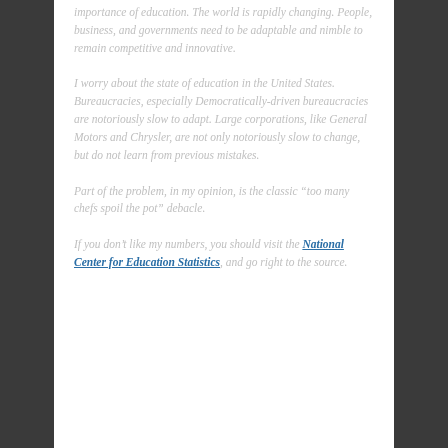importance of education. The world is rapidly changing. People, business, and governments need to be adaptable and nimble to remain competitive and innovative.
I worry about the state of education in the United States. Bureaucracies, especially Democratically-driven bureaucracies are notoriously slow to adapt. Large corporations, like General Motors and Chrysler, are not only notoriously slow to change, but do not learn from previous mistakes.
Part of the problem, in my opinion, is the classic “too many chefs spoil the pot” debacle.
If you don’t like my numbers, you should visit the National Center for Education Statistics, and go right to the source.